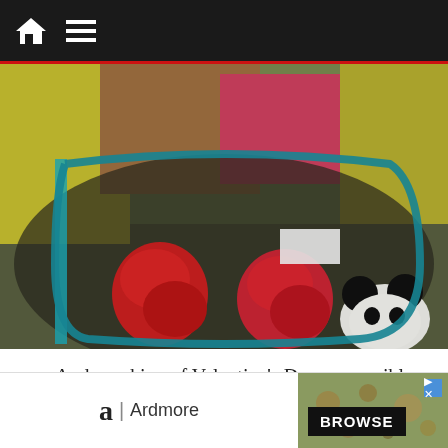Navigation bar with home and menu icons
[Figure (photo): A basket of stuffed animals and plush toys including Mickey Mouse plush with red boxing gloves or red hearts, various Disney characters in a dark wicker basket]
And speaking of Valentine's Day, or possibly 4:20, this Mickey Mouse plush has made its way to the Outlets..
a | Ardmore — Advertisement with BROWSE button and leopard image